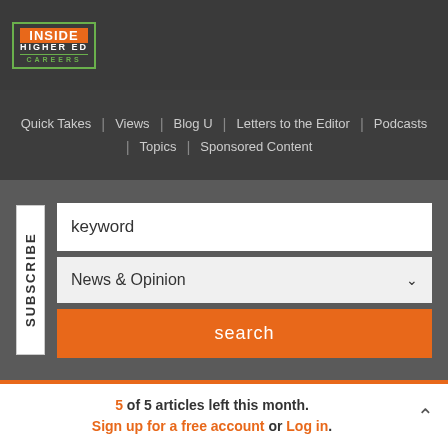[Figure (logo): Inside Higher Ed Careers logo — orange box with green border, white text INSIDE / HIGHER ED / CAREERS]
Quick Takes | Views | Blog U | Letters to the Editor | Podcasts | Topics | Sponsored Content
keyword
News & Opinion
search
SUBSCRIBE
5 of 5 articles left this month. Sign up for a free account or Log in.